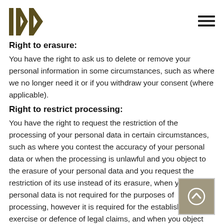KK logo and navigation
Right to erasure:
You have the right to ask us to delete or remove your personal information in some circumstances, such as where we no longer need it or if you withdraw your consent (where applicable).
Right to restrict processing:
You have the right to request the restriction of the processing of your personal data in certain circumstances, such as where you contest the accuracy of your personal data or when the processing is unlawful and you object to the erasure of your personal data and you request the restriction of its use instead of its erasure, when your personal data is not required for the purposes of processing, however it is required for the establishment, exercise or defence of legal claims, and when you object